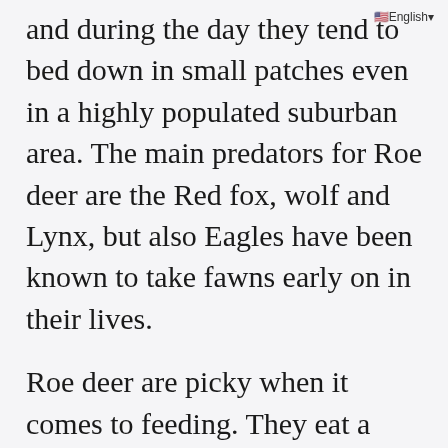English
and during the day they tend to bed down in small patches even in a highly populated suburban area. The main predators for Roe deer are the Red fox, wolf and Lynx, but also Eagles have been known to take fawns early on in their lives.
Roe deer are picky when it comes to feeding. They eat a variety of herbs, so they aren't grass feeders as many might think. They do eat grass, but it's not their first choice. Grain, corn,